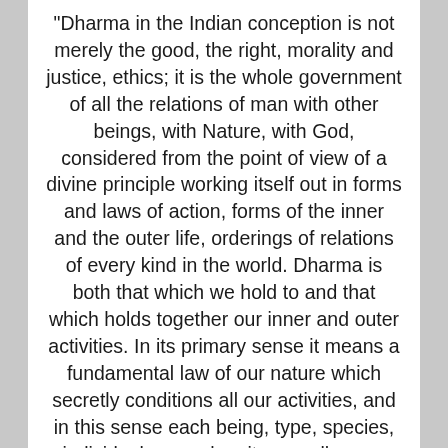"Dharma in the Indian conception is not merely the good, the right, morality and justice, ethics; it is the whole government of all the relations of man with other beings, with Nature, with God, considered from the point of view of a divine principle working itself out in forms and laws of action, forms of the inner and the outer life, orderings of relations of every kind in the world. Dharma is both that which we hold to and that which holds together our inner and outer activities. In its primary sense it means a fundamental law of our nature which secretly conditions all our activities, and in this sense each being, type, species, individual, group has its own dharma. Secondly, there is the divine nature which has to develop and manifest in us, and in this